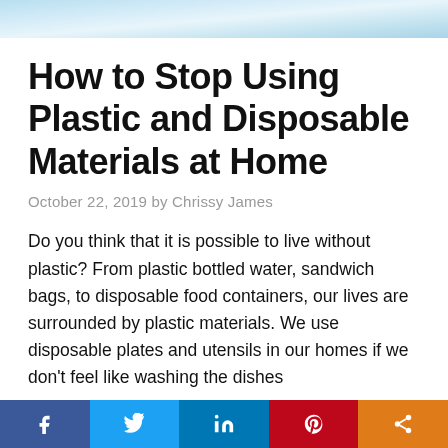[Figure (photo): Cropped photo of plastic-related items, light blue/white tones, partial view at top of page]
How to Stop Using Plastic and Disposable Materials at Home
October 22, 2019 by Chrissy James
Do you think that it is possible to live without plastic? From plastic bottled water, sandwich bags, to disposable food containers, our lives are surrounded by plastic materials. We use disposable plates and utensils in our homes if we don't feel like washing the dishes
[Figure (infographic): Social sharing bar at bottom with Facebook, Twitter, LinkedIn, Pinterest, and Share buttons]